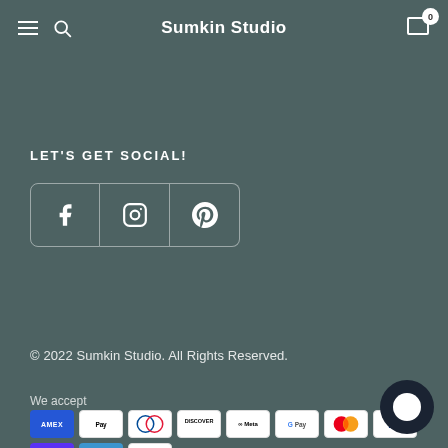Sumkin Studio
LET'S GET SOCIAL!
[Figure (other): Social media icon buttons for Facebook, Instagram, and Pinterest]
© 2022 Sumkin Studio. All Rights Reserved.
We accept
[Figure (other): Payment method icons: AMEX, Apple Pay, Diners Club, Discover, Meta Pay, Google Pay, Mastercard, PayPal, Shop Pay, Venmo, Visa]